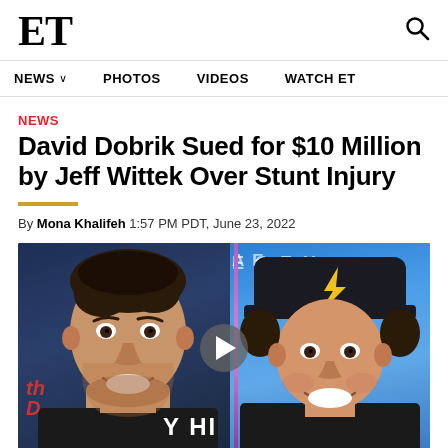ET
NEWS  PHOTOS  VIDEOS  WATCH ET
NEWS
David Dobrik Sued for $10 Million by Jeff Wittek Over Stunt Injury
By Mona Khalifeh 1:57 PM PDT, June 23, 2022
[Figure (photo): Side-by-side photo of Jeff Wittek (left, smiling, dark hair, black shirt, blue background) and David Dobrik (right, smiling, wearing dark cap with yellow lightning bolt, black shirt, blue background) with a play button overlay in the center]